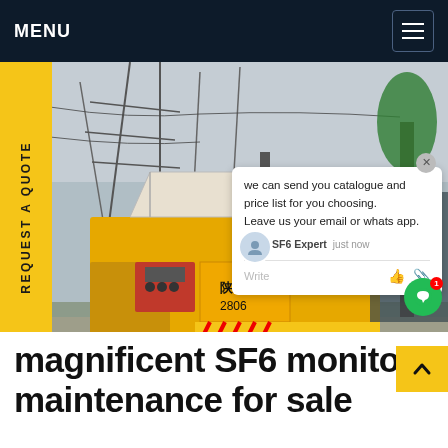MENU
[Figure (photo): A yellow SF6 maintenance truck with an open roof canopy at an electrical substation with high-voltage transmission lines, with a chat widget overlay showing: 'we can send you catalogue and price list for you choosing. Leave us your email or whatsapp.' — SF6 Expert, justnow]
magnificent SF6 monitoring maintenance for sale